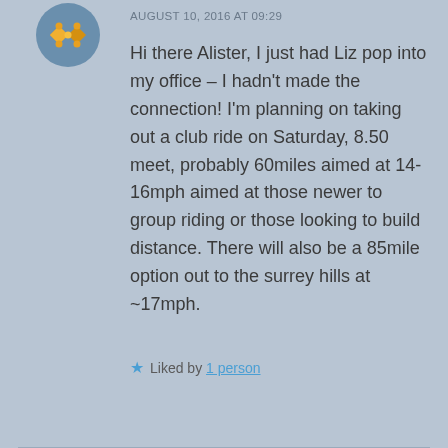[Figure (illustration): Avatar icon with yellow/gold diamond pattern on blue circular background]
AUGUST 10, 2016 AT 09:29
Hi there Alister, I just had Liz pop into my office – I hadn't made the connection! I'm planning on taking out a club ride on Saturday, 8.50 meet, probably 60miles aimed at 14-16mph aimed at those newer to group riding or those looking to build distance. There will also be a 85mile option out to the surrey hills at ~17mph.
Liked by 1 person